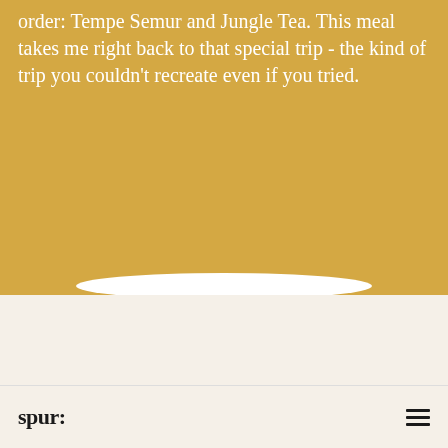order: Tempe Semur and Jungle Tea. This meal takes me right back to that special trip - the kind of trip you couldn't recreate even if you tried.
[Figure (illustration): Bottom portion of a white plate visible at the bottom of the golden/amber colored section]
spur: